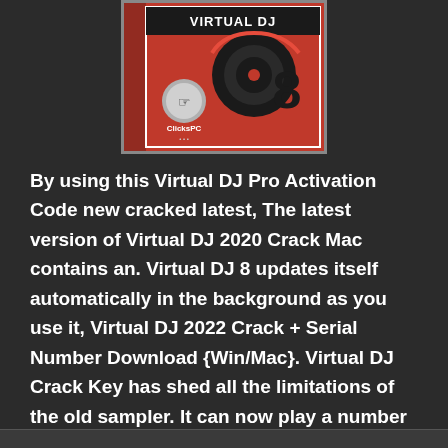[Figure (photo): Product box for Virtual DJ 8 software. Red box with a vinyl record graphic, the number 8, and ClicksPC logo with a hand cursor icon.]
By using this Virtual DJ Pro Activation Code new cracked latest, The latest version of Virtual DJ 2020 Crack Mac contains an. Virtual DJ 8 updates itself automatically in the background as you use it, Virtual DJ 2022 Crack + Serial Number Download {Win/Mac}. Virtual DJ Crack Key has shed all the limitations of the old sampler. It can now play a number that is unlimited of simultaneously. Samples can.
Read More